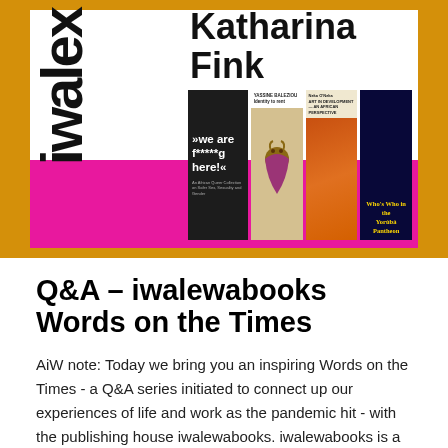[Figure (photo): Hero banner image with golden/amber background. Contains white panel with 'iwalewa' text rotated vertically on left side, 'Katharina Fink' in large bold text top right, and a row of book covers including 'we are f*****g here!', 'Yassine Baleziou: Identity to rent', 'Art in Development – An African Perspective', and 'Who's Who in the Yorùbá Pantheon'. A pink strip runs across the bottom of the image.]
Q&A – iwalewabooks Words on the Times
AiW note: Today we bring you an inspiring Words on the Times - a Q&A series initiated to connect up our experiences of life and work as the pandemic hit - with the publishing house iwalewabooks. iwalewabooks is a publishing house for art and discourse. Through a number